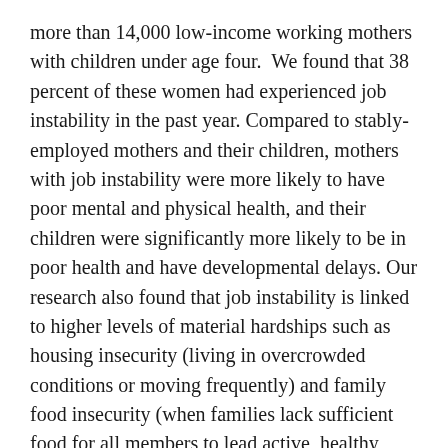more than 14,000 low-income working mothers with children under age four.  We found that 38 percent of these women had experienced job instability in the past year. Compared to stably-employed mothers and their children, mothers with job instability were more likely to have poor mental and physical health, and their children were significantly more likely to be in poor health and have developmental delays. Our research also found that job instability is linked to higher levels of material hardships such as housing insecurity (living in overcrowded conditions or moving frequently) and family food insecurity (when families lack sufficient food for all members to lead active, healthy lives).
While financial loss due to job instability can end up harming the health and development of young children,